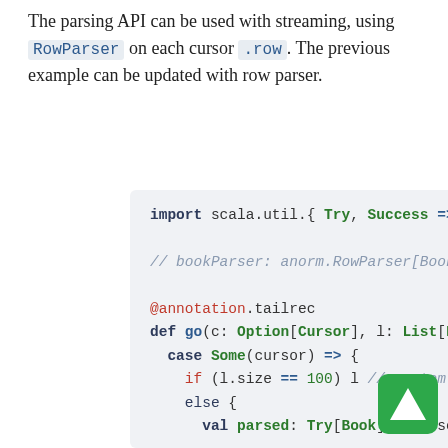The parsing API can be used with streaming, using RowParser on each cursor .row. The previous example can be updated with row parser.
[Figure (screenshot): Scala code block showing import, bookParser comment, @annotation.tailrec, def go function with case Some, if/else, val parsed, parsed match with case TrySuccess and case Failure]